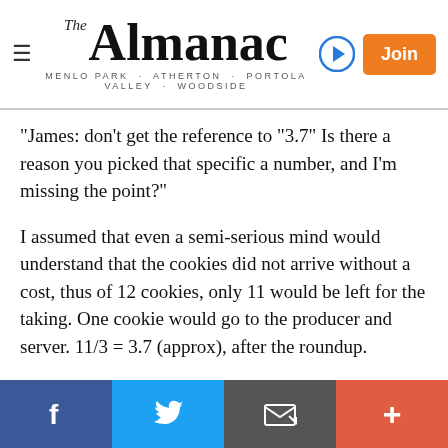The Almanac — MENLO PARK · ATHERTON · PORTOLA VALLEY · WOODSIDE
"James: don't get the reference to "3.7" Is there a reason you picked that specific a number, and I'm missing the point?"
I assumed that even a semi-serious mind would understand that the cookies did not arrive without a cost, thus of 12 cookies, only 11 would be left for the taking. One cookie would go to the producer and server. 11/3 = 3.7 (approx), after the roundup.
Sorry I had to explain it to you. Econ 101.
The most serious question is whether the CEO would choose to eat even one cookie, considering how her weight might be affected. A deeper question, probably at
f  Twitter  Email  +